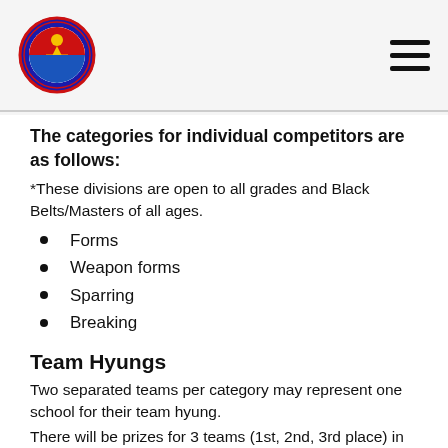[Logo: Taekwondo organization emblem] [Hamburger menu icon]
The categories for individual competitors are as follows:
*These divisions are open to all grades and Black Belts/Masters of all ages.
Forms
Weapon forms
Sparring
Breaking
Team Hyungs
Two separated teams per category may represent one school for their team hyung.
There will be prizes for 3 teams (1st, 2nd, 3rd place) in the category until 13 years old
There will be prizes for 3 teams (1st, 2nd, 3rd place) in the category from 14 years old and older